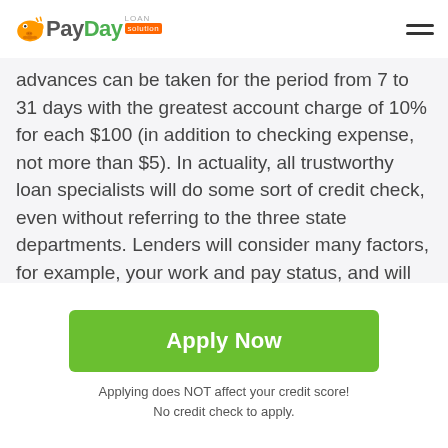PayDay Loan Solution
advances can be taken for the period from 7 to 31 days with the greatest account charge of 10% for each $100 (in addition to checking expense, not more than $5). In actuality, all trustworthy loan specialists will do some sort of credit check, even without referring to the three state departments. Lenders will consider many factors, for example, your work and pay status, and will reasonably review your application before settling on an ultimate conclusion. Don't be tricked into thinking it takes too long – West Allis Installment loans online will show you on-screen if you have been endorsed!
Apply Now
Applying does NOT affect your credit score!
No credit check to apply.